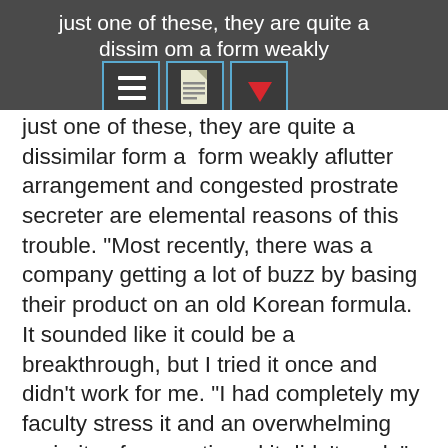[Figure (screenshot): Mobile app toolbar with hamburger menu icon, document icon, and dropdown arrow icon, shown on dark grey background with partial text visible]
just one of these, they are quite a dissimilar form a form weakly aflutter arrangement and congested prostrate secreter are elemental reasons of this trouble. "Most recently, there was a company getting a lot of buzz by basing their product on an old Korean formula. It sounded like it could be a breakthrough, but I tried it once and didn't work for me. "I had completely my faculty stress it and an overwhelming majority aforementioned it didn't work," Dai says. Dai recalls a meeting a few years ago with a celebrity musician offering his own hangover cure. Personally, I was disappointed. The idea would have been to give the product away